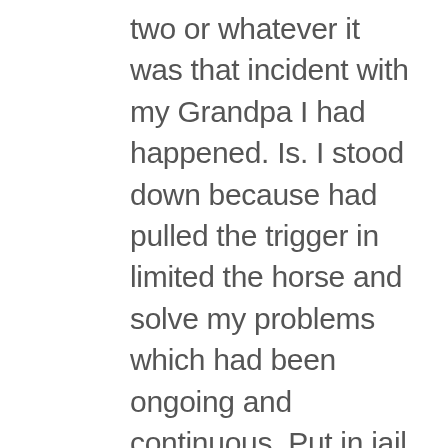two or whatever it was that incident with my Grandpa I had happened. Is. I stood down because had pulled the trigger in limited the horse and solve my problems which had been ongoing and continuous. Put in jail for cruelty to. And I would jail for whatever else even though the animals trespassing on my property in my fist in a lance. Oh. Here we've come full circle. What was okay for my GRANDPA was a sheriff. You know I've you does outlaw back. That is now. So outlawed the as a man of action and having proved that my entire life I stood there. And I had to allow myself in my own opinion. Victimized on on a minor level, but it was the system and our laws that were forcing me to be the victim because my my only recourse at that point was to you know